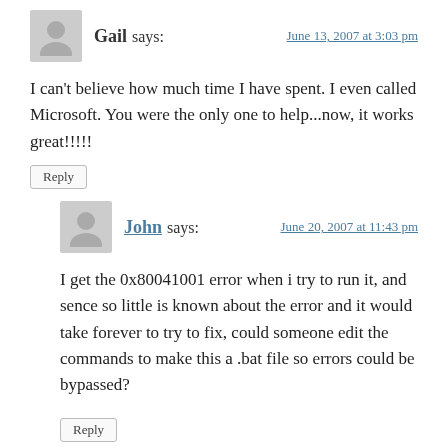Gail says:   June 13, 2007 at 3:03 pm
I can't believe how much time I have spent. I even called Microsoft. You were the only one to help...now, it works great!!!!!
Reply
John says:   June 20, 2007 at 11:43 pm
I get the 0x80041001 error when i try to run it, and sence so little is known about the error and it would take forever to try to fix, could someone edit the commands to make this a .bat file so errors could be bypassed?